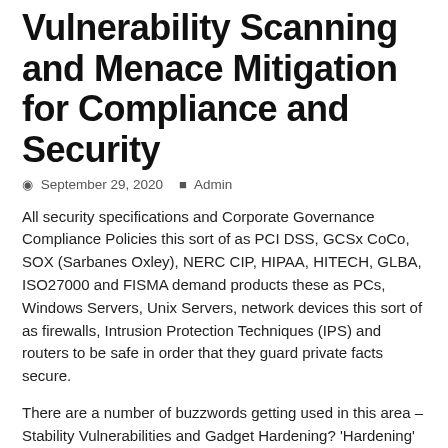Vulnerability Scanning and Menace Mitigation for Compliance and Security
September 29, 2020  Admin
All security specifications and Corporate Governance Compliance Policies this sort of as PCI DSS, GCSx CoCo, SOX (Sarbanes Oxley), NERC CIP, HIPAA, HITECH, GLBA, ISO27000 and FISMA demand products these as PCs, Windows Servers, Unix Servers, network devices this sort of as firewalls, Intrusion Protection Techniques (IPS) and routers to be safe in order that they guard private facts secure.
There are a number of buzzwords getting used in this area – Stability Vulnerabilities and Gadget Hardening? 'Hardening' a product demands identified protection 'vulnerabilities' to be removed or mitigated. A vulnerability